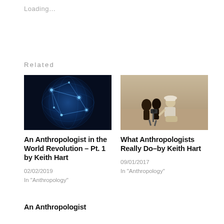Loading…
Related
[Figure (photo): Globe with blue network connections overlay]
An Anthropologist in the World Revolution – Pt. 1 by Keith Hart
02/02/2019
In "Anthropology"
[Figure (photo): Anthropologist with camera on tripod sitting with group of people in field setting]
What Anthropologists Really Do–by Keith Hart
09/01/2017
In "Anthropology"
An Anthropologist